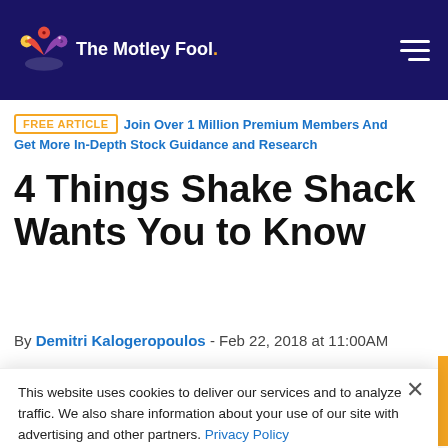The Motley Fool
FREE ARTICLE  Join Over 1 Million Premium Members And Get More In-Depth Stock Guidance and Research
4 Things Shake Shack Wants You to Know
By Demitri Kalogeropoulos - Feb 22, 2018 at 11:00AM
This website uses cookies to deliver our services and to analyze traffic. We also share information about your use of our site with advertising and other partners. Privacy Policy
Got it
Cookie Settings